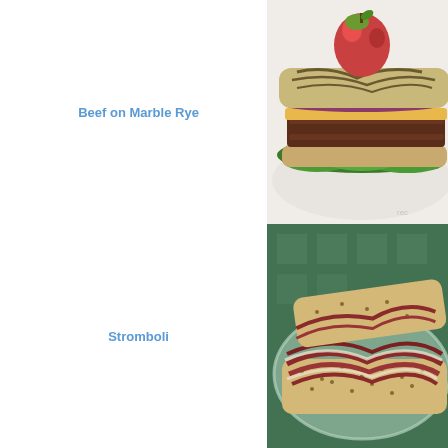Beef on Marble Rye
[Figure (photo): A beef sandwich on marble rye bread served on a white plate, with lettuce, cheese, red onion, and an apple on top of the sandwich roll]
Stromboli
[Figure (photo): A stromboli sandwich open-faced on a decorative plate showing swirled meat filling on seeded bread]